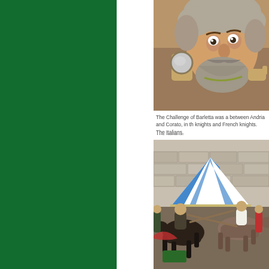[Figure (photo): Close-up sculpture or puppet of a bearded man with curly gray hair holding a round mirror, expressive face with exaggerated features, brown tones]
The Challenge of Barletta was a between Andria and Corato, in th knights and French knights. The Italians.
[Figure (photo): Medieval jousting or tournament scene with knights on horseback, blue and white striped tent in background, stone wall, crowd of people in period costumes]